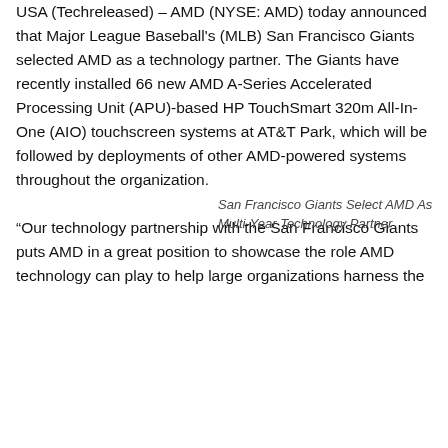USA (Techreleased) – AMD (NYSE: AMD) today announced that Major League Baseball's (MLB) San Francisco Giants selected AMD as a technology partner. The Giants have recently installed 66 new AMD A-Series Accelerated Processing Unit (APU)-based HP TouchSmart 320m All-In-One (AIO) touchscreen systems at AT&T Park, which will be followed by deployments of other AMD-powered systems throughout the organization.
San Francisco Giants Select AMD As Multi-Year Technology Partner
“Our technology partnership with the San Francisco Giants puts AMD in a great position to showcase the role AMD technology can play to help large organizations harness the